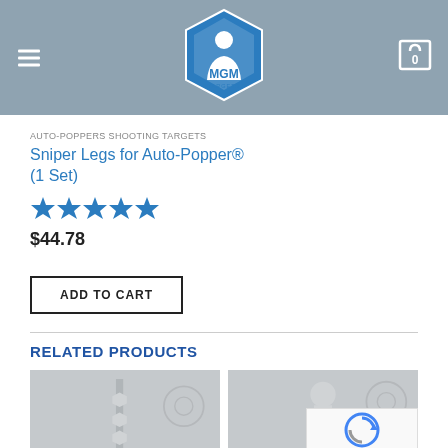MGM Targets header with logo, hamburger menu, and cart icon
AUTO-POPPERS SHOOTING TARGETS
Sniper Legs for Auto-Popper® (1 Set)
[Figure (other): 5 blue star rating]
$44.78
ADD TO CART
RELATED PRODUCTS
[Figure (photo): Related product image 1 - gray placeholder with target shapes]
[Figure (photo): Related product image 2 - gray placeholder with silhouette target]